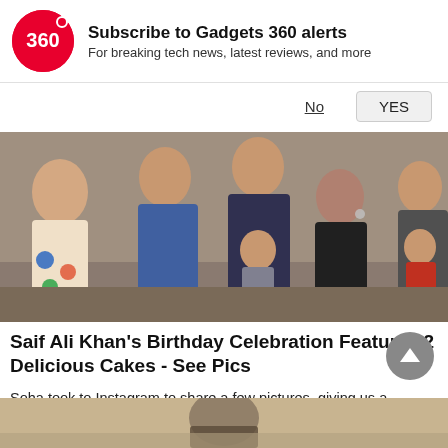Subscribe to Gadgets 360 alerts
For breaking tech news, latest reviews, and more
No   YES
[Figure (photo): Group photo of people at a birthday celebration including Saif Ali Khan, Kareena Kapoor, Soha Ali Khan and family members including children.]
Saif Ali Khan's Birthday Celebration Features 2 Delicious Cakes - See Pics
Soha took to Instagram to share a few pictures, giving us a glimpse of Saif Ali Khan's closed-door 52nd birthday party.
Food
[Figure (photo): Bottom partial image preview of another article.]